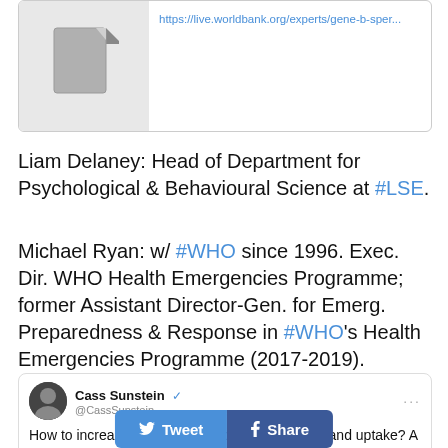[Figure (screenshot): A card with a document icon on the left and a World Bank URL link on the right: https://live.worldbank.org/experts/gene-b-sper...]
Liam Delaney: Head of Department for Psychological & Behavioural Science at #LSE.
Michael Ryan: w/ #WHO since 1996. Exec. Dir. WHO Health Emergencies Programme; former Assistant Director-Gen. for Emerg. Preparedness & Response in #WHO's Health Emergencies Programme (2017-2019).
[Figure (screenshot): A tweet by Cass Sunstein (@CassSunstein, verified): 'How to increase COVID-19 vaccine acceptance and uptake? A report, released just yesterday, from @WHO,']
[Figure (other): Share buttons row: Tweet (blue) and Share (dark blue/Facebook)]